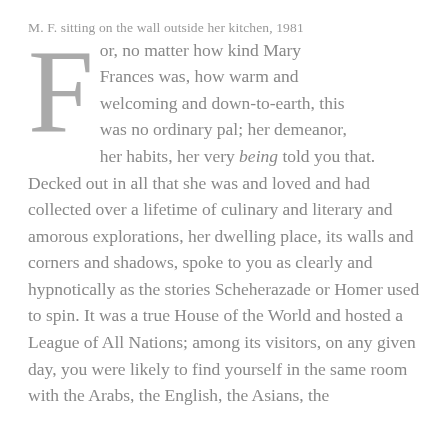M. F. sitting on the wall outside her kitchen, 1981
For, no matter how kind Mary Frances was, how warm and welcoming and down-to-earth, this was no ordinary pal; her demeanor, her habits, her very being told you that. Decked out in all that she was and loved and had collected over a lifetime of culinary and literary and amorous explorations, her dwelling place, its walls and corners and shadows, spoke to you as clearly and hypnotically as the stories Scheherazade or Homer used to spin. It was a true House of the World and hosted a League of All Nations; among its visitors, on any given day, you were likely to find yourself in the same room with the Arabs, the English, the Asians, the